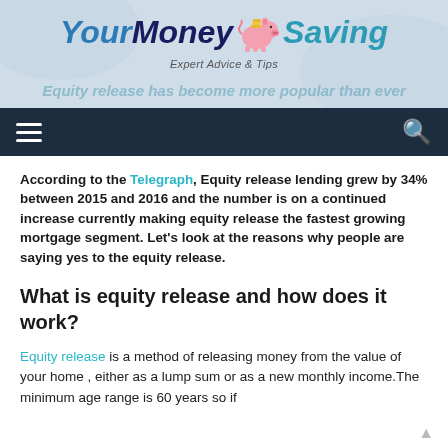[Figure (logo): YourMoneySaving logo with piggy bank illustration and tagline 'Expert Advice & Tips']
Equity release has become more popular than ever
According to the Telegraph, Equity release lending grew by 34% between 2015 and 2016 and the number is on a continued increase currently making equity release the fastest growing mortgage segment. Let's look at the reasons why people are saying yes to the equity release.
What is equity release and how does it work?
Equity release is a method of releasing money from the value of your home , either as a lump sum or as a new monthly income.The minimum age range is 60 years so if